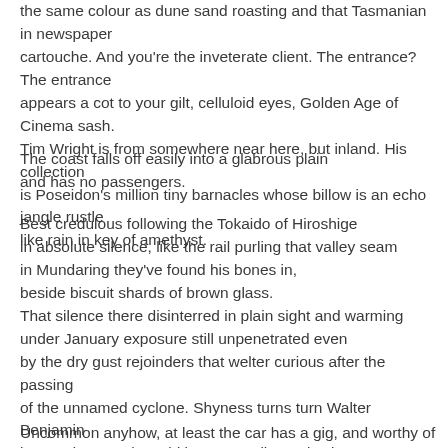the same colour as dune sand roasting and that Tasmanian in newspaper
cartouche. And you're the inveterate client. The entrance? The entrance
appears a cot to your gilt, celluloid eyes, Golden Age of Cinema sash.
Tim Wright is from somewhere near here, but inland. His collection
is Poseidon's million tiny barnacles whose billow is an echo jangle rustle
like rain in key of amethyst.
The coast falls off easily into a glabrous plain
and has no passengers.
Best credulous following the Tokaido of Hiroshige
in absolute silence, like the rail purling that valley seam
in Mundaring they've found his bones in,
beside biscuit shards of brown glass.
That silence there disinterred in plain sight and warming
under January exposure still unpenetrated even
by the dry gust rejoinders that welter curious after the passing
of the unnamed cyclone. Shyness turns turn Walter Benjamin
into Sydney again, cold but not Berlin, and July!
Uncommon anyhow, at least the car has a gig, and worthy of chasing